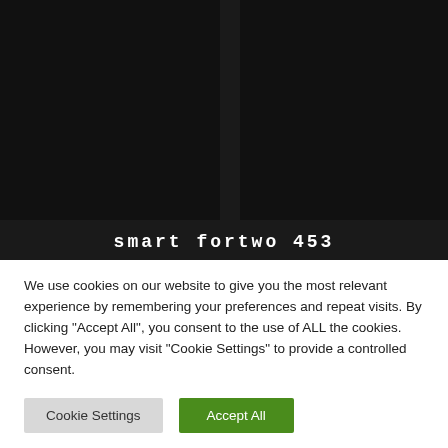[Figure (photo): Dark background image showing a Smart fortwo 453 car, presented as a dark/near-black panel with lighter vertical panel divisions at top.]
smart fortwo 453
We use cookies on our website to give you the most relevant experience by remembering your preferences and repeat visits. By clicking “Accept All”, you consent to the use of ALL the cookies. However, you may visit "Cookie Settings" to provide a controlled consent.
Cookie Settings
Accept All